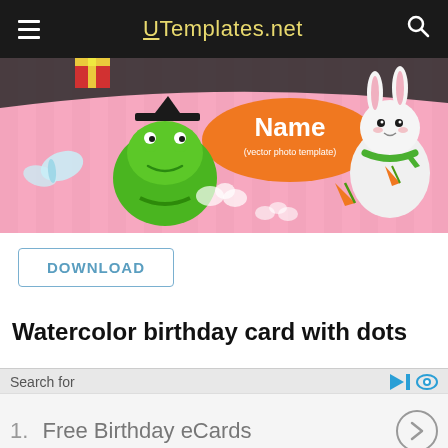UTemplates.net
[Figure (illustration): Colorful children's birthday card template banner with pink striped background, a green cartoon frog, a white bunny character, a butterfly, an orange oval label reading 'Name (vector photo template)', carrots, and scattered white cloud shapes.]
DOWNLOAD
Watercolor birthday card with dots
Search for
1.  Free Birthday eCards